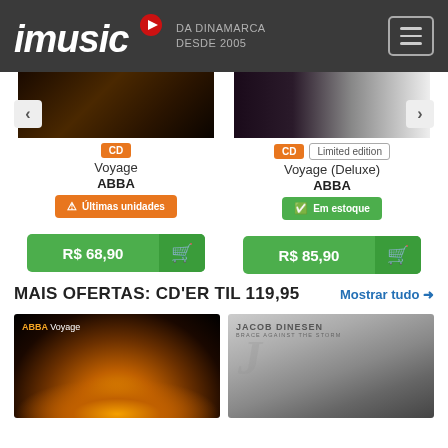imusic DA DINAMARCA DESDE 2005
[Figure (screenshot): ABBA Voyage CD product card with price R$ 68,90]
[Figure (screenshot): ABBA Voyage Deluxe CD Limited edition product card with price R$ 85,90]
MAIS OFERTAS: CD'ER TIL 119,95
Mostrar tudo →
[Figure (photo): ABBA Voyage album cover - golden light burst on dark background]
[Figure (photo): Jacob Dinesen Brace Against The Storm album cover - black and white portrait]